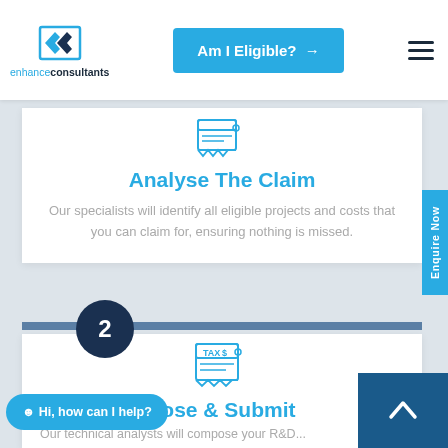enhance consultants — Am I Eligible? navigation header
[Figure (illustration): Small icon of a document/receipt at top of Analyse The Claim section]
Analyse The Claim
Our specialists will identify all eligible projects and costs that you can claim for, ensuring nothing is missed.
[Figure (illustration): Number 2 step circle indicator in dark navy blue]
[Figure (illustration): TAX $ document icon for Compose & Submit section]
pose & Submit
Our technical analysts will compose your R&D...